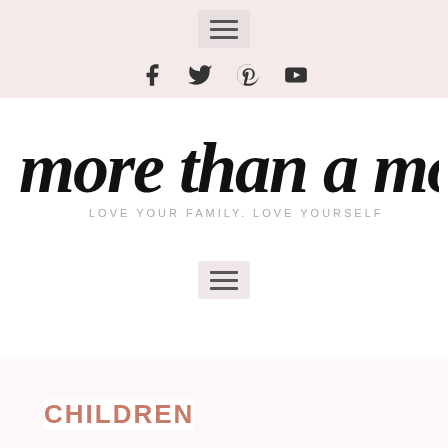☰ (hamburger menu icon)
[Figure (logo): Social media icons: Facebook, Twitter, Pinterest, YouTube]
[Figure (logo): Blog logo: 'more than a mom' in large brush script with tagline 'LOVE YOUR FAMILY. LOVE YOURSELF']
[Figure (other): Hamburger menu icon (navigation)]
CHILDREN